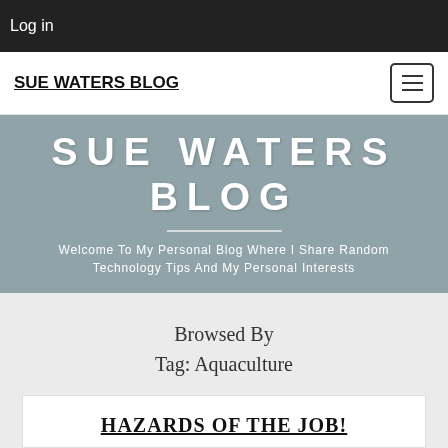Log in
SUE WATERS BLOG
[Figure (screenshot): Hamburger/menu icon button in nav bar]
SUE WATERS BLOG
Welcome To My Personal Blog Where I Share Random Technology Tips And My Personal Interests
Browsed By Tag: Aquaculture
HAZARDS OF THE JOB!